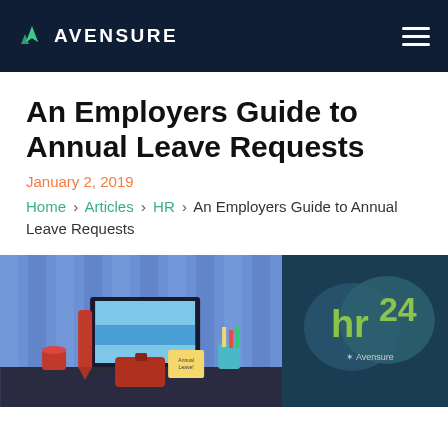AVENSURE
An Employers Guide to Annual Leave Requests
January 2, 2019
Home › Articles › HR › An Employers Guide to Annual Leave Requests
[Figure (illustration): Left: illustrated office desk scene with laptop showing beach, red tie, coffee mug, red briefcase, sticky note labeled 'Annual Leave!', and pencil cup against blue striped background. Right: dark teal badge with speech bubble shapes containing 'hr 24' in green/lime text and 'Avensure' below.]